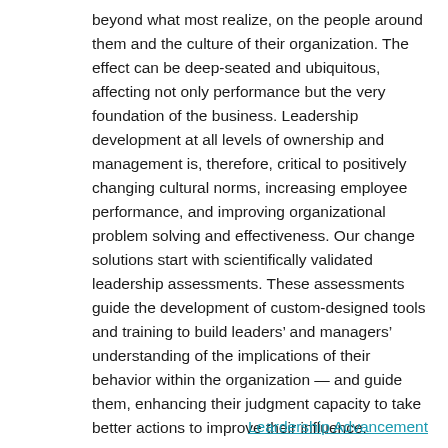beyond what most realize, on the people around them and the culture of their organization. The effect can be deep-seated and ubiquitous, affecting not only performance but the very foundation of the business. Leadership development at all levels of ownership and management is, therefore, critical to positively changing cultural norms, increasing employee performance, and improving organizational problem solving and effectiveness. Our change solutions start with scientifically validated leadership assessments. These assessments guide the development of custom-designed tools and training to build leaders' and managers' understanding of the implications of their behavior within the organization — and guide them, enhancing their judgment capacity to take better actions to improve their influence.
Leardership Advancement